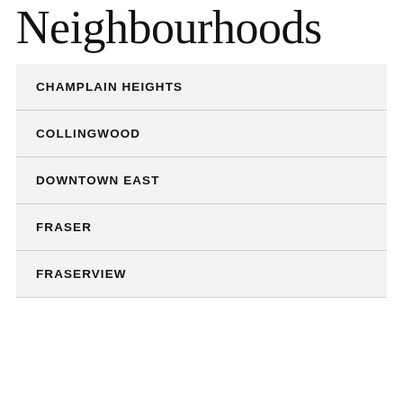Neighbourhoods
CHAMPLAIN HEIGHTS
COLLINGWOOD
DOWNTOWN EAST
FRASER
FRASERVIEW